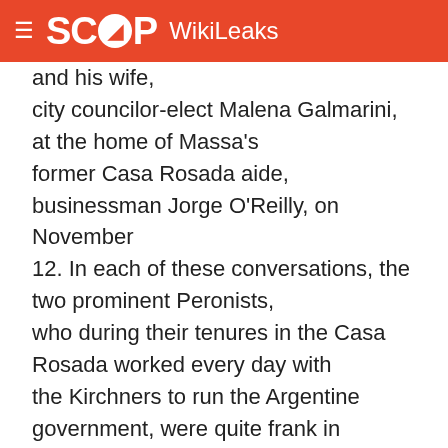SCOOP WikiLeaks
and his wife, city councilor-elect Malena Galmarini, at the home of Massa's former Casa Rosada aide, businessman Jorge O'Reilly, on November 12. In each of these conversations, the two prominent Peronists, who during their tenures in the Casa Rosada worked every day with the Kirchners to run the Argentine government, were quite frank in expressing their estrangement from the Kirchners and their